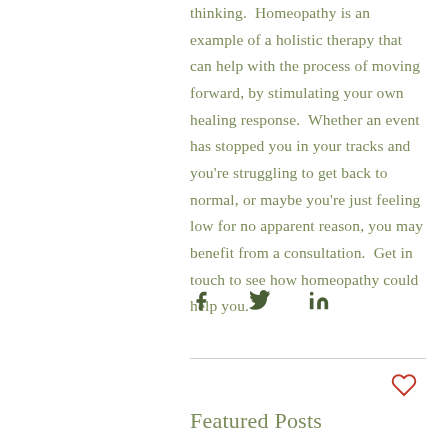thinking.  Homeopathy is an example of a holistic therapy that can help with the process of moving forward, by stimulating your own healing response.  Whether an event has stopped you in your tracks and you're struggling to get back to normal, or maybe you're just feeling low for no apparent reason, you may benefit from a consultation.  Get in touch to see how homeopathy could help you.
[Figure (other): Social share icons: Facebook (f), Twitter (bird), LinkedIn (in)]
[Figure (other): Heart/like icon (outline heart in red)]
Featured Posts